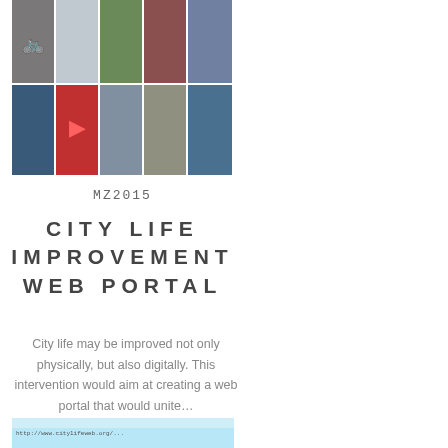[Figure (photo): 2x5 grid of city life photographs showing urban scenes, people, playgrounds, street art, basketball court, and city activities]
MZ2015
CITY LIFE IMPROVEMENT WEB PORTAL
City life may be improved not only physically, but also digitally. This intervention would aim at creating a web portal that would unite...
[Figure (screenshot): Partial screenshot of a web browser showing a website with a light blue background and URL bar]